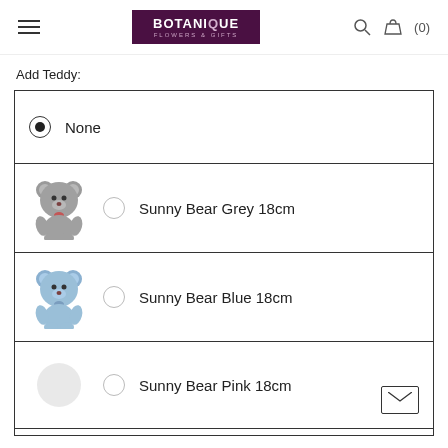BOTANIQUE FLOWERS & GIFTS — navigation bar with hamburger menu, logo, search and basket (0)
Add Teddy:
None (selected)
Sunny Bear Grey 18cm
Sunny Bear Blue 18cm
Sunny Bear Pink 18cm